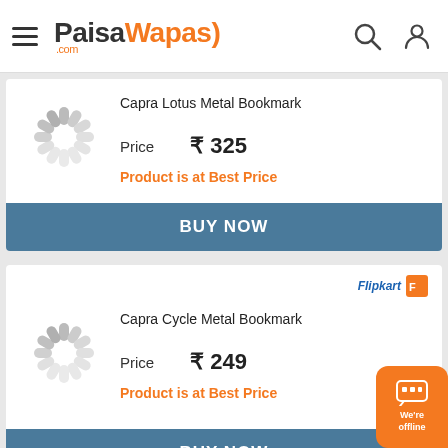PaisaWapas.com
Capra Lotus Metal Bookmark
Price  ₹ 325
Product is at Best Price
BUY NOW
Capra Cycle Metal Bookmark
Price  ₹ 249
Product is at Best Price
BUY NOW